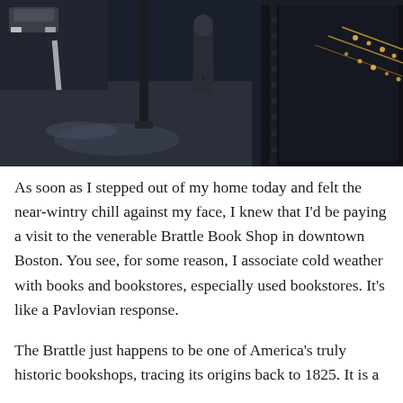[Figure (photo): A dark street scene showing a sidewalk with a lamppost, a person walking away in the distance, and the exterior of a shop with warm lights visible in the window reflection on the right side.]
As soon as I stepped out of my home today and felt the near-wintry chill against my face, I knew that I'd be paying a visit to the venerable Brattle Book Shop in downtown Boston. You see, for some reason, I associate cold weather with books and bookstores, especially used bookstores. It's like a Pavlovian response.
The Brattle just happens to be one of America's truly historic bookshops, tracing its origins back to 1825. It is a true treasure for the world of literary lovers at the moment...